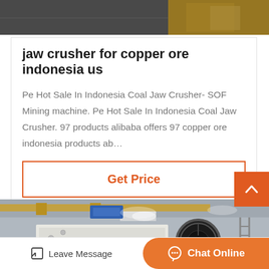[Figure (photo): Top strip photo of industrial/mining equipment with beige/tan machinery visible]
jaw crusher for copper ore indonesia us
Pe Hot Sale In Indonesia Coal Jaw Crusher- SOF Mining machine. Pe Hot Sale In Indonesia Coal Jaw Crusher. 97 products alibaba offers 97 copper ore indonesia products ab…
Get Price
[Figure (photo): Industrial factory interior showing large white jaw crusher machinery with a circular opening/flywheel, overhead crane in background, metal framework and lighting visible]
Leave Message
Chat Online